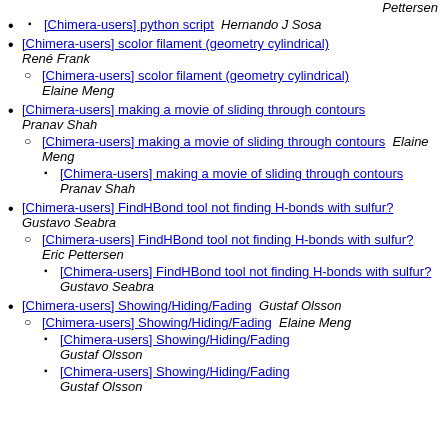Pettersen
[Chimera-users] python script  Hernando J Sosa
[Chimera-users] scolor filament (geometry cylindrical)  René Frank
[Chimera-users] scolor filament (geometry cylindrical)  Elaine Meng
[Chimera-users] making a movie of sliding through contours  Pranav Shah
[Chimera-users] making a movie of sliding through contours  Elaine Meng
[Chimera-users] making a movie of sliding through contours  Pranav Shah
[Chimera-users] FindHBond tool not finding H-bonds with sulfur?  Gustavo Seabra
[Chimera-users] FindHBond tool not finding H-bonds with sulfur?  Eric Pettersen
[Chimera-users] FindHBond tool not finding H-bonds with sulfur?  Gustavo Seabra
[Chimera-users] Showing/Hiding/Fading  Gustaf Olsson
[Chimera-users] Showing/Hiding/Fading  Elaine Meng
[Chimera-users] Showing/Hiding/Fading  Gustaf Olsson
[Chimera-users] Showing/Hiding/Fading